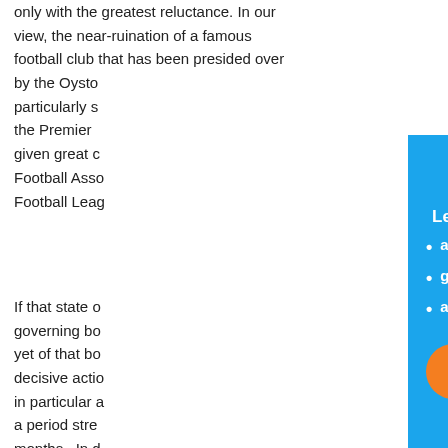only with the greatest reluctance. In our view, the near-ruination of a famous football club that has been presided over by the Oysto… particularly s… the Premier … given great c… Football Asso… Football Leag…
If that state o… governing bo… yet of that b… decisive actio… in particular a… a period stre… months. In d… the club's pre… pyramid, the…
[Figure (infographic): Blue overlay panel with close X button, 'Learn more:' header, bullet list (about our work in the community, growing the fanbases, and how you can support us.), and an orange 'Learn more' button. Below is a photo of a group of children/people in orange shirts standing in front of a red double-decker bus outside a school.]